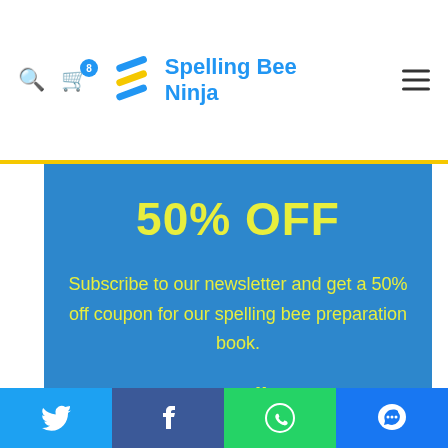Spelling Bee Ninja
50% OFF
Subscribe to our newsletter and get a 50% off coupon for our spelling bee preparation book.
Email
Twitter | Facebook | WhatsApp | Messenger